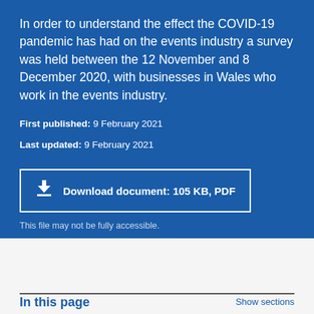In order to understand the effect the COVID-19 pandemic has had on the events industry a survey was held between the 12 November and 8 December 2020, with businesses in Wales who work in the events industry.
First published: 9 February 2021
Last updated: 9 February 2021
Download document: 105 KB, PDF
This file may not be fully accessible.
In this page
Show sections